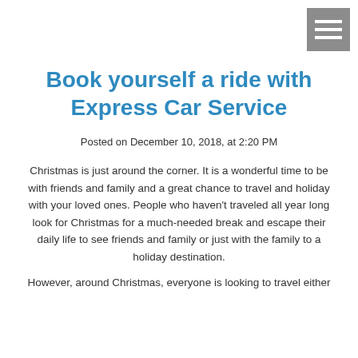[Figure (other): Hamburger menu button icon — three white horizontal lines on a grey square background, top-right corner]
Book yourself a ride with Express Car Service
Posted on December 10, 2018, at 2:20 PM
Christmas is just around the corner. It is a wonderful time to be with friends and family and a great chance to travel and holiday with your loved ones. People who haven't traveled all year long look for Christmas for a much-needed break and escape their daily life to see friends and family or just with the family to a holiday destination.
However, around Christmas, everyone is looking to travel either